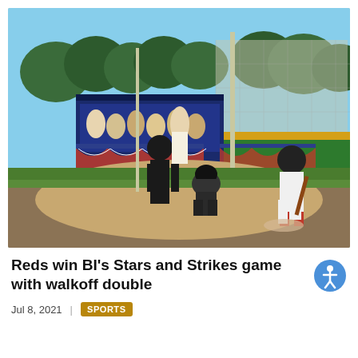[Figure (photo): Outdoor baseball game scene at a ballpark on a sunny day. A batter in white uniform with red socks is running, a catcher in dark gear is crouching behind home plate, and an umpire in dark clothes stands behind the catcher. Spectators are visible behind a dugout decorated with red, white, and blue bunting. Trees and a chain-link fence are visible in the background.]
Reds win BI’s Stars and Strikes game with walkoff double
Jul 8, 2021  |  SPORTS